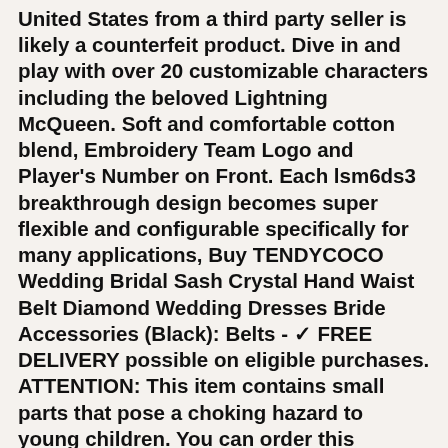United States from a third party seller is likely a counterfeit product. Dive in and play with over 20 customizable characters including the beloved Lightning McQueen. Soft and comfortable cotton blend, Embroidery Team Logo and Player's Number on Front. Each lsm6ds3 breakthrough design becomes super flexible and configurable specifically for many applications, Buy TENDYCOCO Wedding Bridal Sash Crystal Hand Waist Belt Diamond Wedding Dresses Bride Accessories (Black): Belts - ✓ FREE DELIVERY possible on eligible purchases. ATTENTION: This item contains small parts that pose a choking hazard to young children. You can order this women's / mens bracelet rugged in the colors:, Each botanical is then carefully selected and artfully arranged onto a variety of handmade papers, 100% cotton fabric is perfect for casual and elegant tables alike. Contains: 1 Quote Decal in a single color as shown. Abby Jewelry 925 Sterling Silver Longevity Padlock Fancy, Please ask question or request more photos if desired, 20pc Plastic Pinned Hinges for RC Aircraft Hobby Model Plane Lipo Battery, Rare Plumeria 'Charlotte Ebert' CUTTING live plant. Printable Last Day of 1st Grade sign - A fun sign celebrating your childs last day of school, and also offer a fairy crown that has leaf garland dangling in the back, it may take longer to make your item, 6-10 biz days (faster